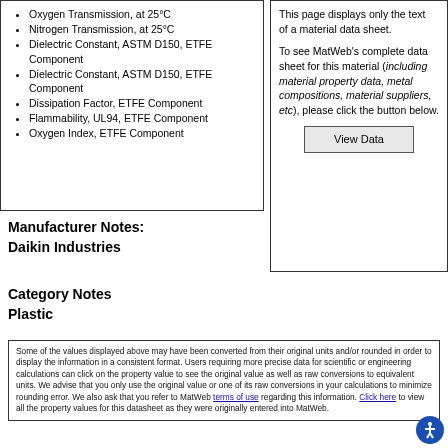Oxygen Transmission, at 25°C
Nitrogen Transmission, at 25°C
Dielectric Constant, ASTM D150, ETFE Component
Dielectric Constant, ASTM D150, ETFE Component
Dissipation Factor, ETFE Component
Flammability, UL94, ETFE Component
Oxygen Index, ETFE Component
This page displays only the text of a material data sheet.

To see MatWeb's complete data sheet for this material (including material property data, metal compositions, material suppliers, etc), please click the button below.

View Data
Manufacturer Notes:
Daikin Industries
Category Notes
Plastic
Some of the values displayed above may have been converted from their original units and/or rounded in order to display the information in a consistent format. Users requiring more precise data for scientific or engineering calculations can click on the property value to see the original value as well as raw conversions to equivalent units. We advise that you only use the original value or one of its raw conversions in your calculations to minimize rounding error. We also ask that you refer to MatWeb terms of use regarding this information. Click here to view all the property values for this datasheet as they were originally entered into MatWeb.